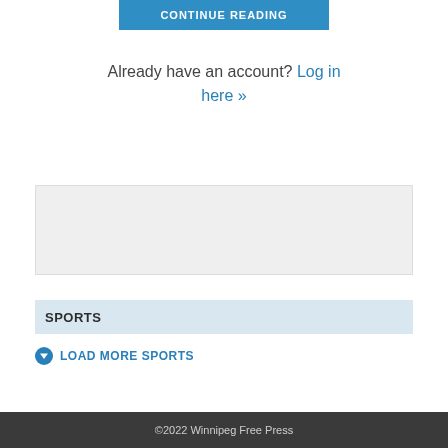CONTINUE READING
Already have an account? Log in here »
Advertisement
Advertise With Us
SPORTS
LOAD MORE SPORTS
©2022 Winnipeg Free Press